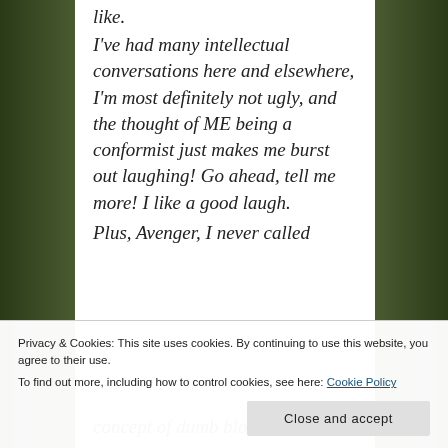like.
I've had many intellectual conversations here and elsewhere, I'm most definitely not ugly, and the thought of ME being a conformist just makes me burst out laughing! Go ahead, tell me more! I like a good laugh.
Plus, Avenger, I never called
Privacy & Cookies: This site uses cookies. By continuing to use this website, you agree to their use.
To find out more, including how to control cookies, see here: Cookie Policy
concept of dumb blondes. I